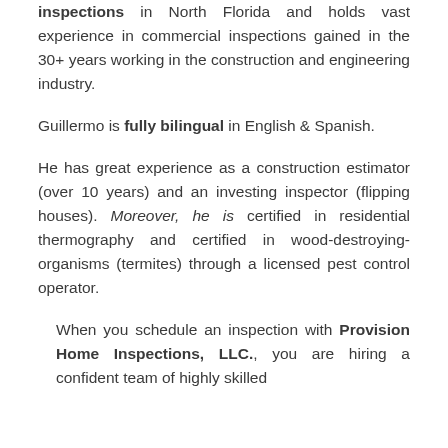inspections in North Florida and holds vast experience in commercial inspections gained in the 30+ years working in the construction and engineering industry.
Guillermo is fully bilingual in English & Spanish.
He has great experience as a construction estimator (over 10 years) and an investing inspector (flipping houses). Moreover, he is certified in residential thermography and certified in wood-destroying-organisms (termites) through a licensed pest control operator.
When you schedule an inspection with Provision Home Inspections, LLC., you are hiring a confident team of highly skilled